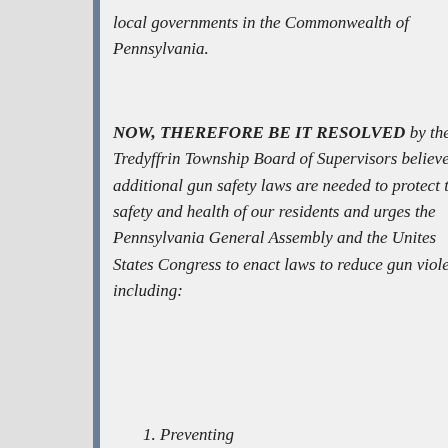local governments in the Commonwealth of Pennsylvania.
NOW, THEREFORE BE IT RESOLVED by the Tredyffrin Township Board of Supervisors believes additional gun safety laws are needed to protect the safety and health of our residents and urges the Pennsylvania General Assembly and the Unites States Congress to enact laws to reduce gun violence, including:
1. Preventing